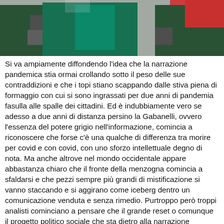[Figure (photo): Partial photo showing people wearing green jackets with red and teal accents, visible from chest down, cropped at top of page.]
Si va ampiamente diffondendo l'idea che la narrazione pandemica stia ormai crollando sotto il peso delle sue contraddizioni e che i topi stiano scappando dalle stiva piena di formaggio con cui si sono ingrassati per due anni di pandemia fasulla alle spalle dei cittadini. Ed è indubbiamente vero se adesso a due anni di distanza persino la Gabanelli, ovvero l'essenza del potere grigio nell'informazione, comincia a riconoscere che forse c'è una qualche di differenza tra morire per covid e con covid, con uno sforzo intellettuale degno di nota. Ma anche altrove nel mondo occidentale appare abbastanza chiaro che il fronte della menzogna comincia a sfaldarsi e che pezzi sempre più grandi di mistificazione si vanno staccando e si aggirano come iceberg dentro un comunicazione venduta e senza rimedio. Purtroppo però troppi analisti cominciano a pensare che il grande reset o comunque il progetto politico sociale che sta dietro alla narrazione pandemica sia stato sconfitto, quando invece è fin troppo chiaro che le oligarchie finanziarie hanno avuto un grande